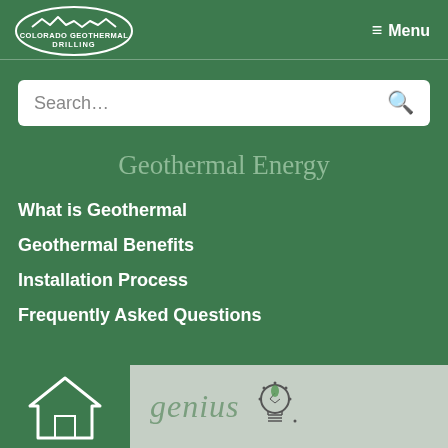[Figure (logo): Colorado Geothermal Drilling logo - white oval with mountain line graphic and text]
≡ Menu
Search...
Geothermal Energy
What is Geothermal
Geothermal Benefits
Installation Process
Frequently Asked Questions
[Figure (illustration): Bottom banner with green house icon on left and 'genius' text with lightbulb icon on grey background]